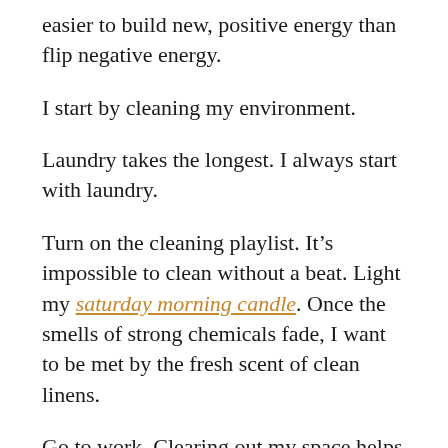easier to build new, positive energy than flip negative energy.
I start by cleaning my environment.
Laundry takes the longest. I always start with laundry.
Turn on the cleaning playlist. It’s impossible to clean without a beat. Light my saturday morning candle. Once the smells of strong chemicals fade, I want to be met by the fresh scent of clean linens.
Go to work. Clearing out my space helps to clear out the tangles in my mind.